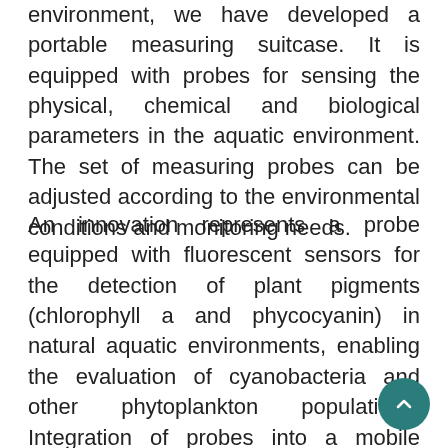environment, we have developed a portable measuring suitcase. It is equipped with probes for sensing the physical, chemical and biological parameters in the aquatic environment. The set of measuring probes can be adjusted according to the environmental conditions and monitoring needs.
An innovation represents a probe equipped with fluorescent sensors for the detection of plant pigments (chlorophyll a and phycocyanin) in natural aquatic environments, enabling the evaluation of cyanobacteria and other phytoplankton populations. Integration of probes into a mobile device enables to obtain continuous temporal and spatial information on the status of the water body, which is not possible by classic approaches of collecting of water samples.